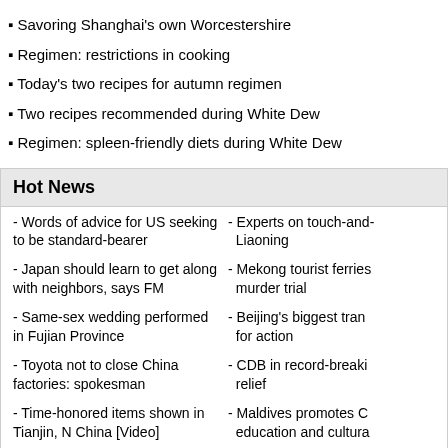Savoring Shanghai's own Worcestershire
Regimen: restrictions in cooking
Today's two recipes for autumn regimen
Two recipes recommended during White Dew
Regimen: spleen-friendly diets during White Dew
Hot News
- Words of advice for US seeking to be standard-bearer
- Japan should learn to get along with neighbors, says FM
- Same-sex wedding performed in Fujian Province
- Toyota not to close China factories: spokesman
- Time-honored items shown in Tianjin, N China [Video]
- Experts on touch-and-... Liaoning
- Mekong tourist ferries... murder trial
- Beijing's biggest tran... for action
- CDB in record-breaki... relief
- Maldives promotes C... education and cultura...
Leave your comment